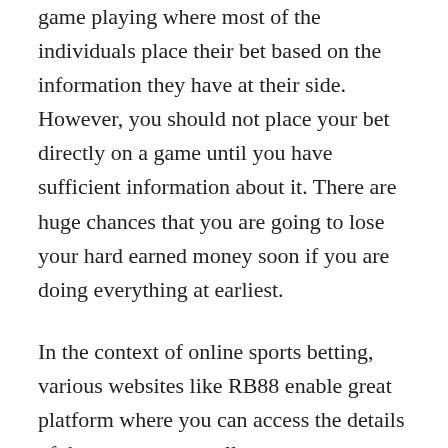game playing where most of the individuals place their bet based on the information they have at their side. However, you should not place your bet directly on a game until you have sufficient information about it. There are huge chances that you are going to lose your hard earned money soon if you are doing everything at earliest.
In the context of online sports betting, various websites like RB88 enable great platform where you can access the details of those games as well as